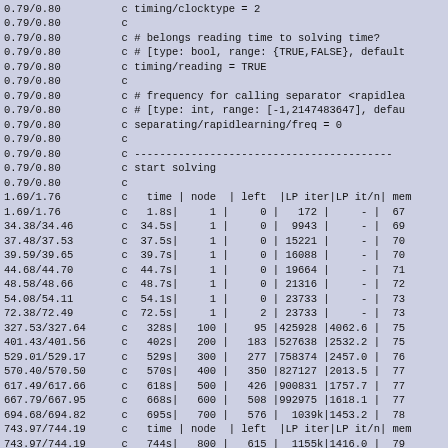Code/log output block showing SCIP solver configuration and progress log with timing, node, left, LP iter, LP it/n, and mem columns.